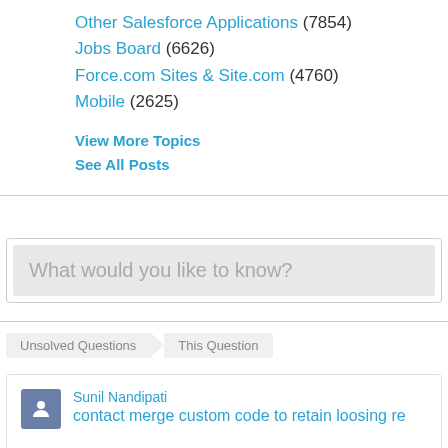Other Salesforce Applications (7854)
Jobs Board (6626)
Force.com Sites & Site.com (4760)
Mobile (2625)
View More Topics
See All Posts
[Figure (screenshot): Search input box with placeholder text 'What would you like to know?']
Unsolved Questions > This Question
Sunil Nandipati
contact merge custom code to retain loosing re...
When i merge a record, i want to store the Id of the lo... Merged/Winning record.